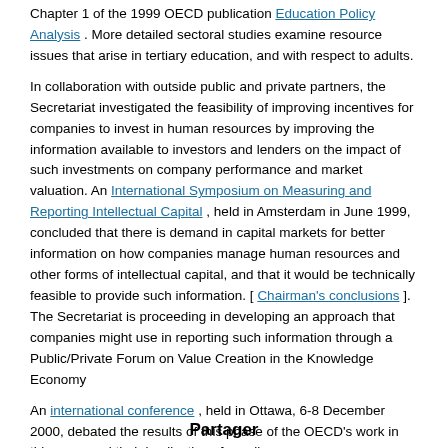Chapter 1 of the 1999 OECD publication Education Policy Analysis . More detailed sectoral studies examine resource issues that arise in tertiary education, and with respect to adults.
In collaboration with outside public and private partners, the Secretariat investigated the feasibility of improving incentives for companies to invest in human resources by improving the information available to investors and lenders on the impact of such investments on company performance and market valuation. An International Symposium on Measuring and Reporting Intellectual Capital , held in Amsterdam in June 1999, concluded that there is demand in capital markets for better information on how companies manage human resources and other forms of intellectual capital, and that it would be technically feasible to provide such information. [ Chairman's conclusions ]. The Secretariat is proceeding in developing an approach that companies might use in reporting such information through a Public/Private Forum on Value Creation in the Knowledge Economy
An international conference , held in Ottawa, 6-8 December 2000, debated the results of this phase of the OECD's work in this area, and their implications for policy
Financing Lifelong Learning Country Reports
Partager